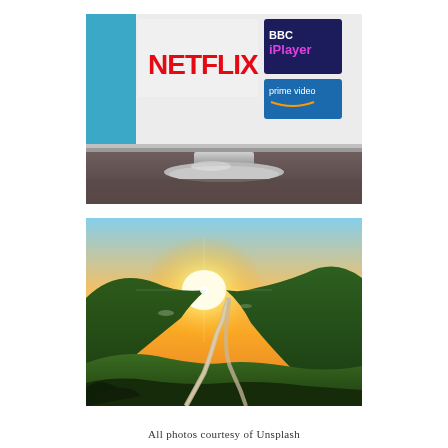[Figure (photo): Close-up photo of a Samsung TV screen showing Netflix, BBC iPlayer, and Amazon Prime Video logos/apps on screen, with the TV stand visible below.]
[Figure (photo): Aerial landscape photo of a winding road through green hills and mountains with a bright golden sunset/sunrise in the background.]
All photos courtesy of Unsplash